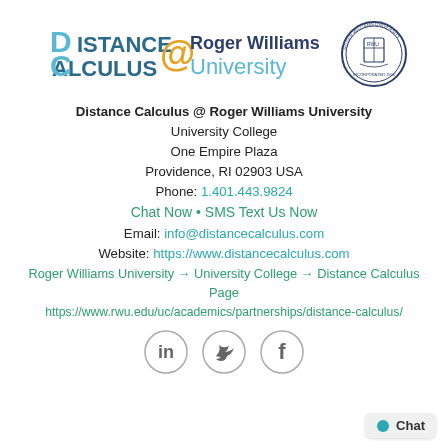[Figure (logo): Distance Calculus @ Roger Williams University logo with university seal]
Distance Calculus @ Roger Williams University
University College
One Empire Plaza
Providence, RI 02903 USA
Phone: 1.401.443.9824
Chat Now • SMS Text Us Now
Email: info@distancecalculus.com
Website: https://www.distancecalculus.com
Roger Williams University → University College → Distance Calculus Page
https://www.rwu.edu/uc/academics/partnerships/distance-calculus/
[Figure (illustration): Social media icons: LinkedIn, Twitter, Facebook]
[Figure (illustration): Chat button in bottom right corner]